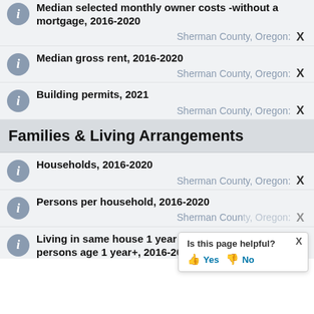Median selected monthly owner costs -without a mortgage, 2016-2020
Sherman County, Oregon: X
Median gross rent, 2016-2020
Sherman County, Oregon: X
Building permits, 2021
Sherman County, Oregon: X
Families & Living Arrangements
Households, 2016-2020
Sherman County, Oregon: X
Persons per household, 2016-2020
Sherman County, Oregon: X
Living in same house 1 year ago, percent of persons age 1 year+, 2016-2020